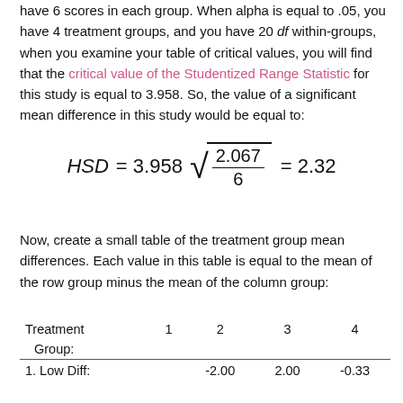have 6 scores in each group. When alpha is equal to .05, you have 4 treatment groups, and you have 20 df within-groups, when you examine your table of critical values, you will find that the critical value of the Studentized Range Statistic for this study is equal to 3.958. So, the value of a significant mean difference in this study would be equal to:
Now, create a small table of the treatment group mean differences. Each value in this table is equal to the mean of the row group minus the mean of the column group:
| Treatment Group: | 1 | 2 | 3 | 4 |
| --- | --- | --- | --- | --- |
| 1. Low Diff: |  | -2.00 | 2.00 | -0.33 |